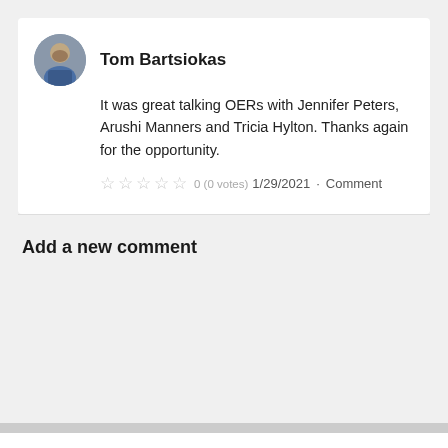Tom Bartsiokas
It was great talking OERs with Jennifer Peters, Arushi Manners and Tricia Hylton. Thanks again for the opportunity.
0 (0 votes) 1/29/2021 · Comment
Add a new comment
Copyright © 2022 Axero Holdings LLC. Seneca College powered by Axero ™ Version 8.0.8187.38928